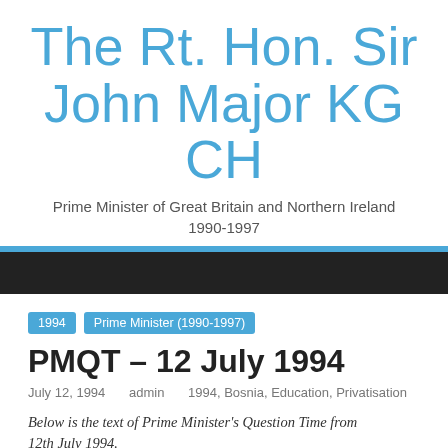The Rt. Hon. Sir John Major KG CH
Prime Minister of Great Britain and Northern Ireland 1990-1997
1994   Prime Minister (1990-1997)
PMQT – 12 July 1994
July 12, 1994   admin   1994, Bosnia, Education, Privatisation
Below is the text of Prime Minister's Question Time from 12th July 1994.